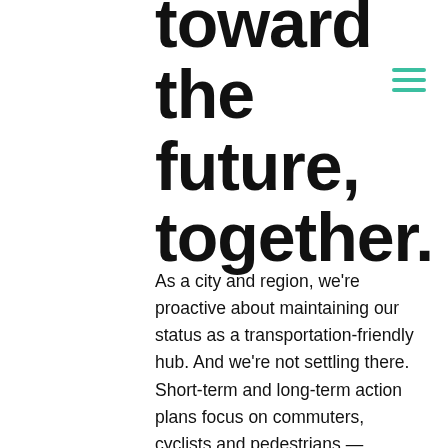toward the future, together.
As a city and region, we're proactive about maintaining our status as a transportation-friendly hub. And we're not settling there. Short-term and long-term action plans focus on commuters, cyclists and pedestrians — ensuring that everyone can get where they need to go.